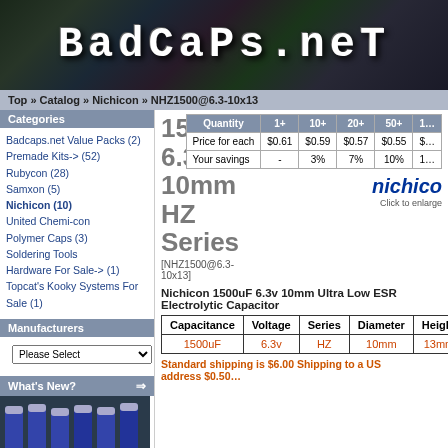[Figure (logo): Badcaps.net website banner with dark circuit board background and large stylized text logo]
Top » Catalog » Nichicon » NHZ1500@6.3-10x13
Categories
Badcaps.net Value Packs (2)
Premade Kits-> (52)
Rubycon (28)
Samxon (5)
Nichicon (10)
United Chemi-con
Polymer Caps (3)
Soldering Tools
Hardware For Sale-> (1)
Topcat's Kooky Systems For Sale (1)
Manufacturers
What's New?
1500uF 6.3v 10mm HZ Series
[NHZ1500@6.3-10x13]
| Quantity | 1+ | 10+ | 20+ | 50+ |
| --- | --- | --- | --- | --- |
| Price for each | $0.61 | $0.59 | $0.57 | $0.55 |
| Your savings | - | 3% | 7% | 10% |
[Figure (logo): Nichicon brand logo in dark blue italic text]
Click to enlarge
Nichicon 1500uF 6.3v 10mm Ultra Low ESR Electrolytic Capacitor
| Capacitance | Voltage | Series | Diameter | Height |
| --- | --- | --- | --- | --- |
| 1500uF | 6.3v | HZ | 10mm | 13mm |
Standard shipping is $6.00 Shipping to a US address $0.50